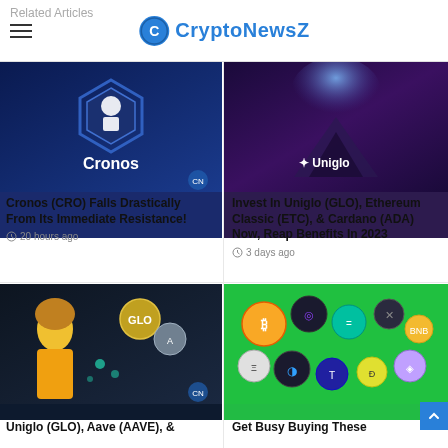CryptoNewsZ
Related Articles
[Figure (photo): Cronos (CRO) cryptocurrency promotional image with hexagon logo on dark blue background]
Cronos (CRO) Falls Drastically From Its Immediate Resistance!
20 hours ago
[Figure (photo): Uniglo (GLO) cryptocurrency promotional image with purple cosmic background showing mountain and geometric logo]
Invest In Uniglo (GLO), Ethereum Classic (ETC), & Cardano (ADA) Now, Reap Benefits In 2023
3 days ago
[Figure (photo): Uniglo GLO Aave cryptocurrency image with excited woman in yellow pointing at crypto coin icons]
Uniglo (GLO), Aave (AAVE), &
[Figure (photo): Get Busy Buying These - multiple cryptocurrency coin logos on green background]
Get Busy Buying These